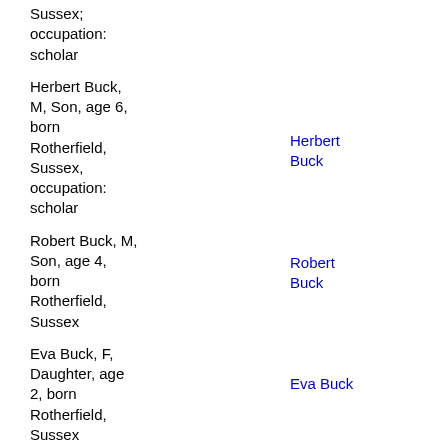Sussex; occupation: scholar
Herbert Buck, M, Son, age 6, born Rotherfield, Sussex, occupation: scholar
Herbert Buck
Robert Buck, M, Son, age 4, born Rotherfield, Sussex
Robert Buck
Eva Buck, F, Daughter, age 2, born Rotherfield, Sussex
Eva Buck
Owen Hoath, M, Servant, single, age 18, born Rotherfield, Sussex; occupation: farm servant
Owen Hoath, blacksmith's striker
James Wood, M, Servant,